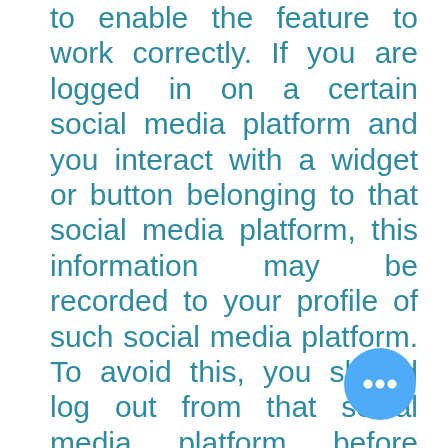to enable the feature to work correctly. If you are logged in on a certain social media platform and you interact with a widget or button belonging to that social media platform, this information may be recorded to your profile of such social media platform. To avoid this, you should log out from that social media platform before accessing or using the Website. Social media features and widgets may be hosted by a third party or hosted directly on our Website. Your interactions with these features are governed by the privacy notices of the companies that provide them. By clicking on of these buttons, you agree the use of this plugin and